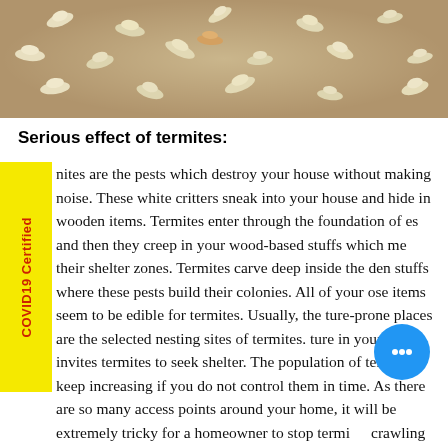[Figure (photo): Close-up photo of many white termites crawling on sandy/earthy ground]
Serious effect of termites:
nites are the pests which destroy your house without making noise. These white critters sneak into your house and hide in wooden items. Termites enter through the foundation of es and then they creep in your wood-based stuffs which me their shelter zones. Termites carve deep inside the den stuffs where these pests build their colonies. All of your ose items seem to be edible for termites. Usually, the ture-prone places are the selected nesting sites of termites. ture in your home invites termites to seek shelter. The population of termites keep increasing if you do not control them in time. As there are so many access points around your home, it will be extremely tricky for a homeowner to stop termites crawling in your place. Therefore, you should talk to our termite control Perth expert to book an appointment which will help erase all termite insects from your living zone.